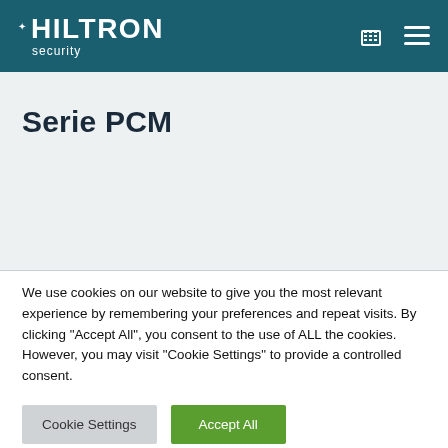HILTRON security
Serie PCM
We use cookies on our website to give you the most relevant experience by remembering your preferences and repeat visits. By clicking "Accept All", you consent to the use of ALL the cookies. However, you may visit "Cookie Settings" to provide a controlled consent.